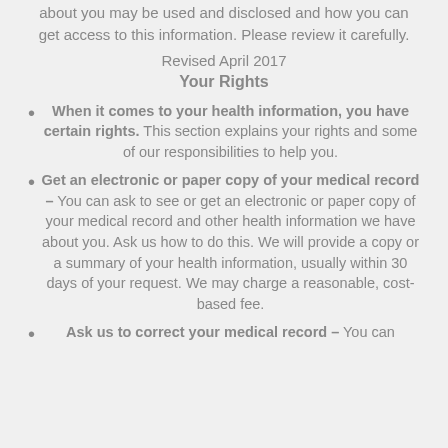This notice describes how medical information about you may be used and disclosed and how you can get access to this information. Please review it carefully.
Revised April 2017
Your Rights
When it comes to your health information, you have certain rights. This section explains your rights and some of our responsibilities to help you.
Get an electronic or paper copy of your medical record – You can ask to see or get an electronic or paper copy of your medical record and other health information we have about you. Ask us how to do this. We will provide a copy or a summary of your health information, usually within 30 days of your request. We may charge a reasonable, cost-based fee.
Ask us to correct your medical record – You can